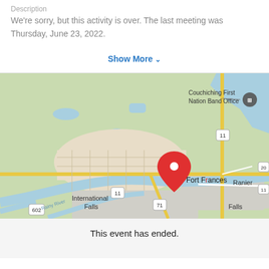Description
We're sorry, but this activity is over. The last meeting was Thursday, June 23, 2022.
Show More ▾
[Figure (map): Google Maps view showing Fort Frances, Ontario (with red location pin), Couchiching First Nation Band Office, Ranier, International Falls, and Jameson Falls. The Rainy River is visible. Highway markers 11, 71, 602, and 20 are shown.]
This event has ended.